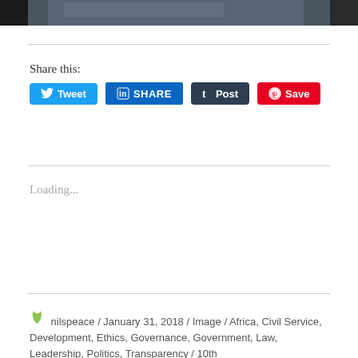[Figure (photo): Partial view of a dark-toned photograph at the top of the page, showing a blurred interior or outdoor scene.]
Share this:
[Figure (screenshot): Social sharing buttons: Tweet (Twitter, blue), SHARE (LinkedIn, blue), Post (Tumblr, dark), Save (Pinterest, red)]
Loading...
nilspeace / January 31, 2018 / Image / Africa, Civil Service, Development, Ethics, Governance, Government, Law, Leadership, Politics, Transparency / 10th